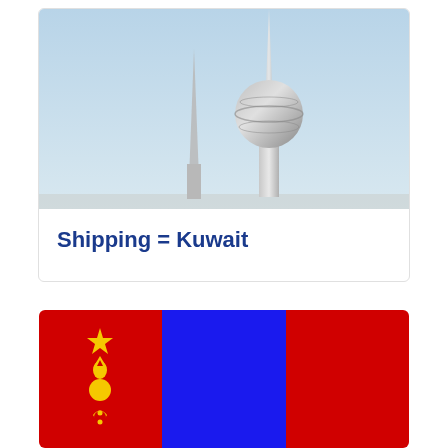[Figure (photo): Photo of Kuwait Towers against a hazy sky — two tall needle-like spires, the main tower with a large spherical observation deck]
Shipping = Kuwait
[Figure (illustration): Flag of Mongolia — three vertical stripes: red on left with Soyombo symbol (star, flame, sun, moon, yin-yang in yellow), blue in center, red on right]